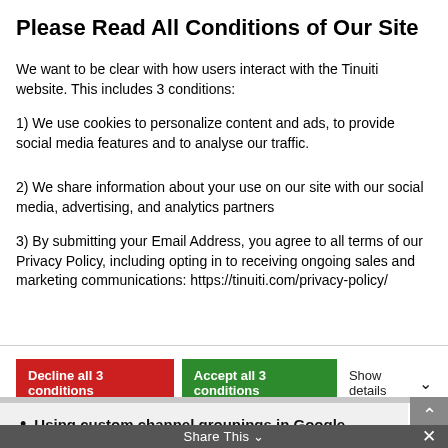Please Read All Conditions of Our Site
We want to be clear with how users interact with the Tinuiti website. This includes 3 conditions:
1) We use cookies to personalize content and ads, to provide social media features and to analyse our traffic.
2) We share information about your use on our site with our social media, advertising, and analytics partners
3) By submitting your Email Address, you agree to all terms of our Privacy Policy, including opting in to receiving ongoing sales and marketing communications: https://tinuiti.com/privacy-policy/
Decline all 3 conditions | Accept all 3 conditions | Show details
Using custom channel groupings in Google Analytics. The default channels aren't enough to truly reflect your exact campaigns and strategies. Always customize your channel groupings to be specific to your unique approach.